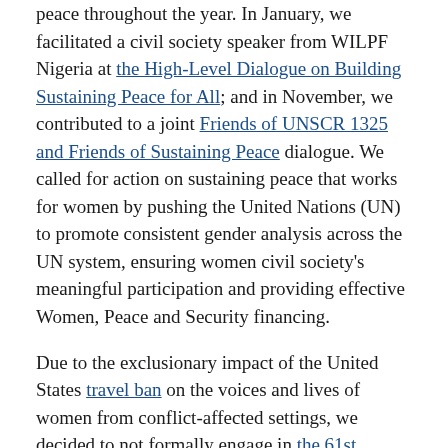peace throughout the year. In January, we facilitated a civil society speaker from WILPF Nigeria at the High-Level Dialogue on Building Sustaining Peace for All; and in November, we contributed to a joint Friends of UNSCR 1325 and Friends of Sustaining Peace dialogue. We called for action on sustaining peace that works for women by pushing the United Nations (UN) to promote consistent gender analysis across the UN system, ensuring women civil society's meaningful participation and providing effective Women, Peace and Security financing.
Due to the exclusionary impact of the United States travel ban on the voices and lives of women from conflict-affected settings, we decided to not formally engage in the 61st Commission on the Status of Women. Instead, WILPF gathered more than 150 women's rights and peace activists from around the world in April 2017 to discuss how to make the UN more inclusive and make women count within the UN system. At the convening, women called for a paradigm shift in the approach taken to peacebuilding that ensures women's meaningful participation. This requires